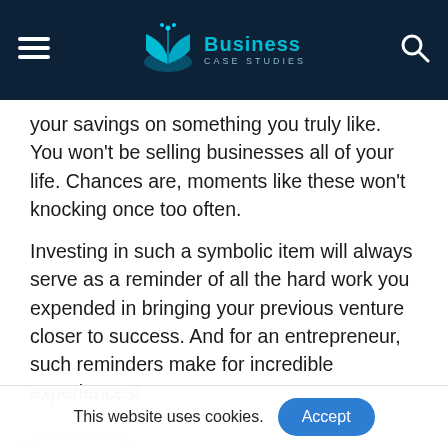Business Case Studies
your savings on something you truly like. You won't be selling businesses all of your life. Chances are, moments like these won't knocking once too often.
Investing in such a symbolic item will always serve as a reminder of all the hard work you expended in bringing your previous venture closer to success. And for an entrepreneur, such reminders make for incredible experiences!
Share
This website uses cookies.